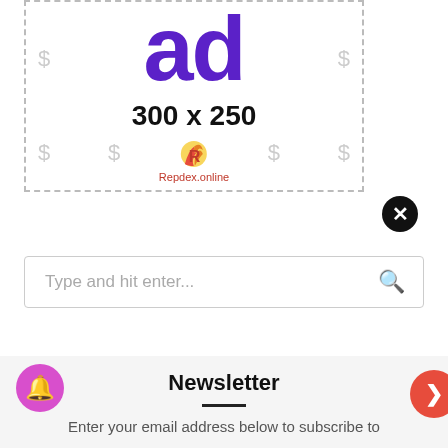[Figure (other): Advertisement placeholder showing 'ad' text in purple, '300 x 250' dimensions text, dollar sign icons, and Repdex.online logo with flame 'R' graphic, all inside a dashed border box]
[Figure (other): Black circular close/dismiss button with white X]
Type and hit enter...
Newsletter
Enter your email address below to subscribe to